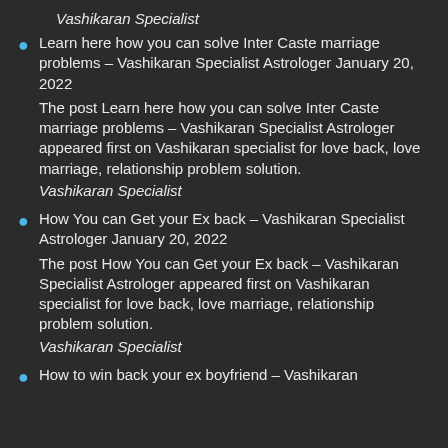Vashikaran Specialist
Learn here how you can solve Inter Caste marriage problems – Vashikaran Specialist Astrologer January 20, 2022
The post Learn here how you can solve Inter Caste marriage problems – Vashikaran Specialist Astrologer appeared first on Vashikaran specialist for love back, love marriage, relationship problem solution.
Vashikaran Specialist
How You can Get your Ex back – Vashikaran Specialist Astrologer January 20, 2022
The post How You can Get your Ex back – Vashikaran Specialist Astrologer appeared first on Vashikaran specialist for love back, love marriage, relationship problem solution.
Vashikaran Specialist
How to win back your ex boyfriend – Vashikaran